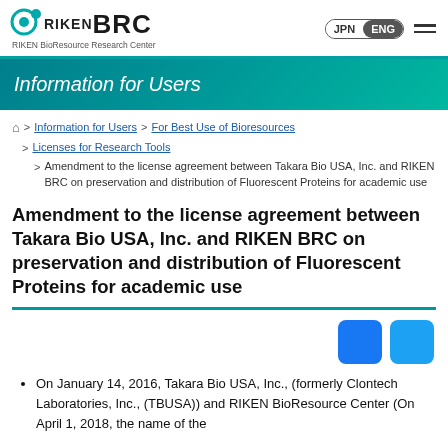RIKEN BRC — RIKEN BioResource Research Center — JPN ENG
Information for Users
🏠 > Information for Users > For Best Use of Bioresources > Licenses for Research Tools > Amendment to the license agreement between Takara Bio USA, Inc. and RIKEN BRC on preservation and distribution of Fluorescent Proteins for academic use
Amendment to the license agreement between Takara Bio USA, Inc. and RIKEN BRC on preservation and distribution of Fluorescent Proteins for academic use
On January 14, 2016, Takara Bio USA, Inc., (formerly Clontech Laboratories, Inc., (TBUSA)) and RIKEN BioResource Center (On April 1, 2018, the name of the